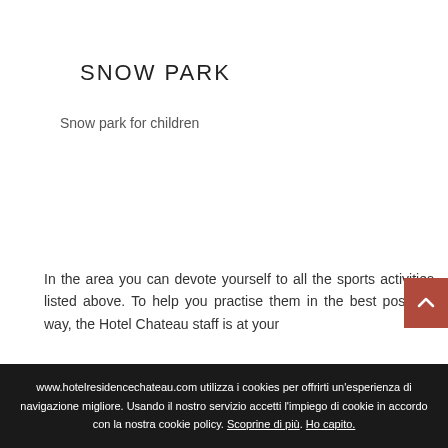SNOW PARK
Snow park for children
In the area you can devote yourself to all the sports activities listed above. To help you practise them in the best possible way, the Hotel Chateau staff is at your
www.hotelresidencechateau.com utilizza i cookies per offrirti un'esperienza di navigazione migliore. Usando il nostro servizio accetti l'impiego di cookie in accordo con la nostra cookie policy. Scoprine di più. Ho capito.